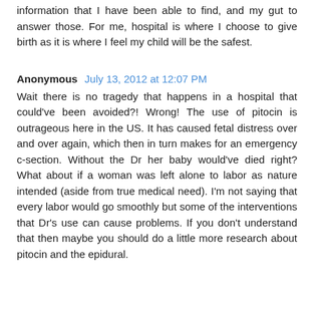information that I have been able to find, and my gut to answer those. For me, hospital is where I choose to give birth as it is where I feel my child will be the safest.
Anonymous July 13, 2012 at 12:07 PM
Wait there is no tragedy that happens in a hospital that could've been avoided?! Wrong! The use of pitocin is outrageous here in the US. It has caused fetal distress over and over again, which then in turn makes for an emergency c-section. Without the Dr her baby would've died right? What about if a woman was left alone to labor as nature intended (aside from true medical need). I'm not saying that every labor would go smoothly but some of the interventions that Dr's use can cause problems. If you don't understand that then maybe you should do a little more research about pitocin and the epidural.